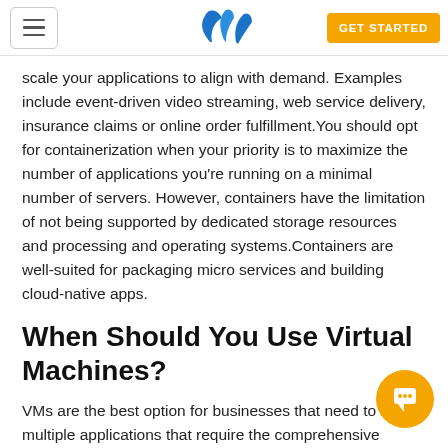GET STARTED
scale your applications to align with demand. Examples include event-driven video streaming, web service delivery, insurance claims or online order fulfillment.You should opt for containerization when your priority is to maximize the number of applications you're running on a minimal number of servers. However, containers have the limitation of not being supported by dedicated storage resources and processing and operating systems.Containers are well-suited for packaging micro services and building cloud-native apps.
When Should You Use Virtual Machines?
VMs are the best option for businesses that need to run multiple applications that require the comprehensive functionality and support of a dedicated OS.VMs are best suited for applications that you need to use for extended time periods and run within a virtualized environment that is more versatile and secure.
Virtualization is better suited for housing traditional, legacy